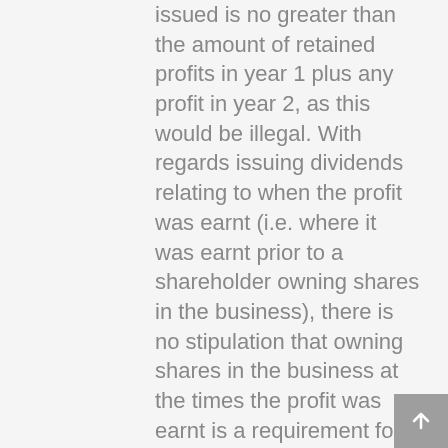issued is no greater than the amount of retained profits in year 1 plus any profit in year 2, as this would be illegal. With regards issuing dividends relating to when the profit was earnt (i.e. where it was earnt prior to a shareholder owning shares in the business), there is no stipulation that owning shares in the business at the times the profit was earnt is a requirement for receiving a dividend from retained profits. However, you should ensure that issuing dividends to the new shareholder in your scenario does not conflict with